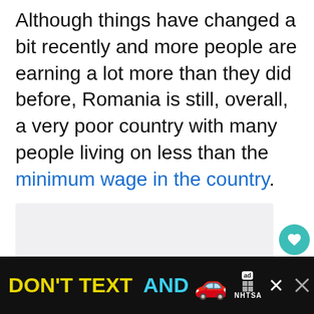Although things have changed a bit recently and more people are earning a lot more than they did before, Romania is still, overall, a very poor country with many people living on less than the minimum wage in the country.
[Figure (other): Empty content/image placeholder area in the article body]
DON'T TEXT AND [car emoji] ad NHTSA [close button] [close button]